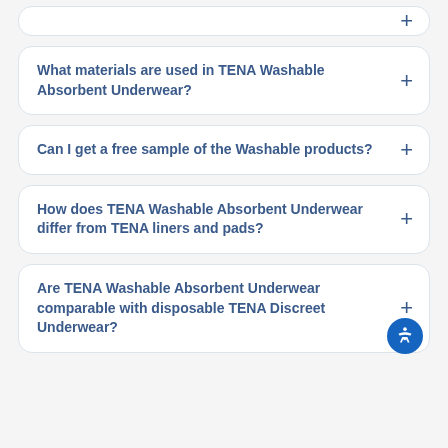What materials are used in TENA Washable Absorbent Underwear?
Can I get a free sample of the Washable products?
How does TENA Washable Absorbent Underwear differ from TENA liners and pads?
Are TENA Washable Absorbent Underwear comparable with disposable TENA Discreet Underwear?